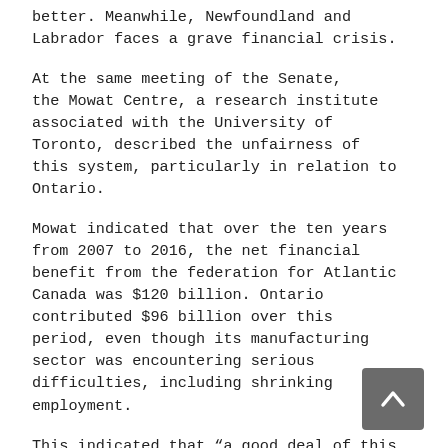better. Meanwhile, Newfoundland and Labrador faces a grave financial crisis.
At the same meeting of the Senate, the Mowat Centre, a research institute associated with the University of Toronto, described the unfairness of this system, particularly in relation to Ontario.
Mowat indicated that over the ten years from 2007 to 2016, the net financial benefit from the federation for Atlantic Canada was $120 billion. Ontario contributed $96 billion over this period, even though its manufacturing sector was encountering serious difficulties, including shrinking employment.
This indicated that “a good deal of this